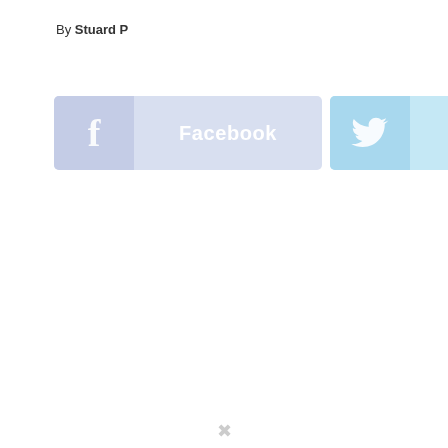By Stuard P
[Figure (other): Social sharing buttons: Facebook button (blue/lavender), Twitter button (light blue), and a plus (+) button (light gray)]